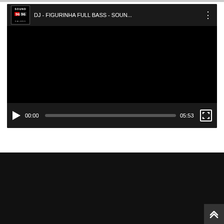[Figure (screenshot): Embedded video player showing 'DJ - FIGURINHA FULL BASS - SOUN...' with a black screen, play button, time 00:00, progress bar, duration 05:53, and fullscreen button. The player has a Sound Kalens logo in the top bar.]
ABOUT US
Advertise Here